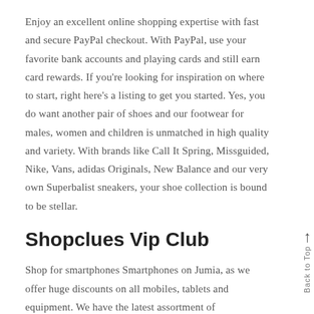Enjoy an excellent online shopping expertise with fast and secure PayPal checkout. With PayPal, use your favorite bank accounts and playing cards and still earn card rewards. If you're looking for inspiration on where to start, right here's a listing to get you started. Yes, you do want another pair of shoes and our footwear for males, women and children is unmatched in high quality and variety. With brands like Call It Spring, Missguided, Nike, Vans, adidas Originals, New Balance and our very own Superbalist sneakers, your shoe collection is bound to be stellar.
Shopclues Vip Club
Shop for smartphones Smartphones on Jumia, as we offer huge discounts on all mobiles, tablets and equipment. We have the latest assortment of smartphones like the Samsung Note...